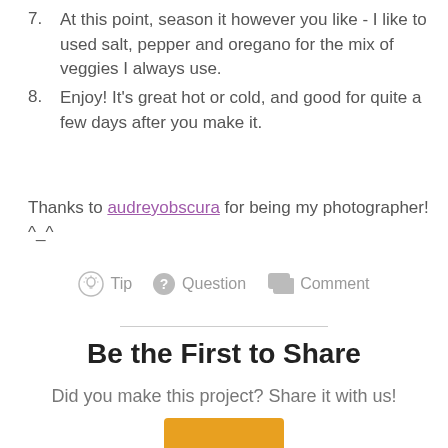7. At this point, season it however you like - I like to used salt, pepper and oregano for the mix of veggies I always use.
8. Enjoy! It's great hot or cold, and good for quite a few days after you make it.
Thanks to audreyobscura for being my photographer! ^_^
Tip  Question  Comment
Be the First to Share
Did you make this project? Share it with us!